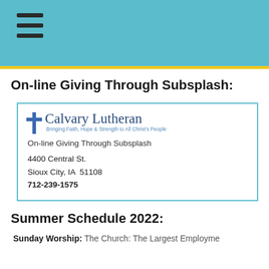[Figure (other): Teal/blue header bar with yellow bottom border and hamburger menu icon (three horizontal bars) in the top left]
On-line Giving Through Subsplash:
[Figure (other): Card with blue border showing Calvary Lutheran church logo (blue cross + church name), tagline 'Bringing Faith, Hope & Strength to All Christ's People', subtitle 'On-line Giving Through Subsplash', address '4400 Central St., Sioux City, IA 51108', phone '712-239-1575']
Summer Schedule 2022:
Sunday Worship: The Church: The Largest Employme